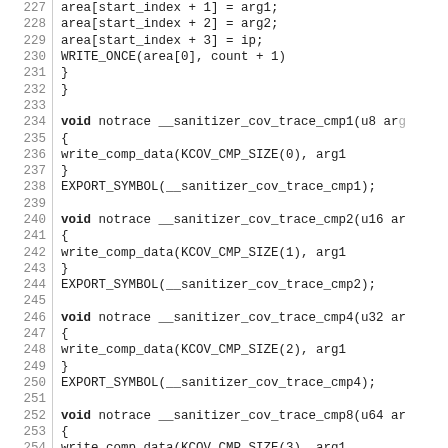Code listing lines 227-256 showing C kernel coverage tracing functions: sanitizer_cov_trace_cmp1, cmp2, cmp4, cmp8